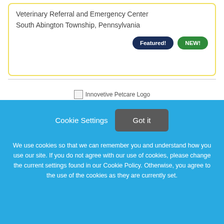Veterinary Referral and Emergency Center
South Abington Township, Pennsylvania
Featured! NEW!
[Figure (logo): Innovetive Petcare Logo placeholder image]
Live Your Best Veterinary Lifestyle | New Grads Welcome | Committed Team Members And Clientele
Cookie Settings  Got it
We use cookies so that we can remember you and understand how you use our site. If you do not agree with our use of cookies, please change the current settings found in our Cookie Policy. Otherwise, you agree to the use of the cookies as they are currently set.